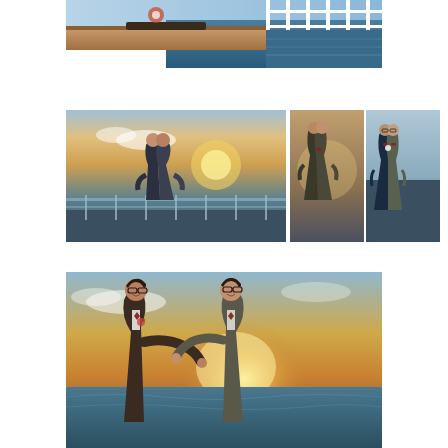[Figure (photo): Partial view of a ship deck with wooden rail and rope/life preserver detail, ocean in background with white railing]
[Figure (photo): Two grooms in suits kissing on a cruise ship deck at sunset with ocean and railing in background - wide shot]
[Figure (photo): Two grooms in suits embracing forehead-to-forehead, close-up portrait on ship deck]
[Figure (photo): Two grooms in suits posing together smiling on ship deck, one wearing bow tie]
[Figure (photo): Two grooms in suits face to face with golden sunset backlight on cruise ship deck over ocean, one adjusting the other's bow tie]